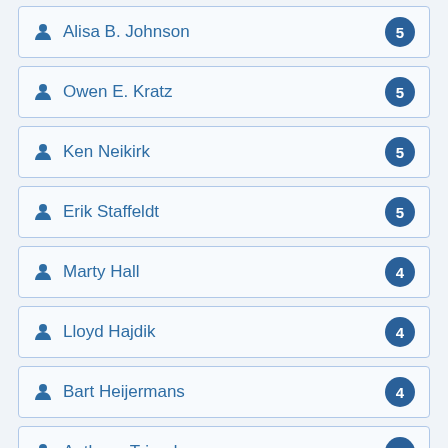Alisa B. Johnson
Owen E. Kratz
Ken Neikirk
Erik Staffeldt
Marty Hall
Lloyd Hajdik
Bart Heijermans
Anthony Tripodo